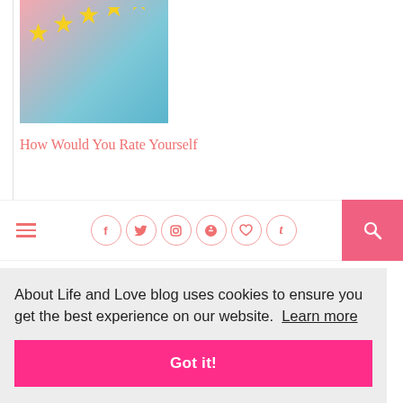[Figure (photo): Blog post thumbnail showing yellow stars on a pink and blue background]
How Would You Rate Yourself
[Figure (photo): Blank/empty blog post thumbnail image placeholder]
My Birthday Gratitude List
[Figure (screenshot): Website navigation bar with hamburger menu, social media icons (Facebook, Twitter, Instagram, Pinterest, Heart/Bloglovin, Tumblr), and a pink search button]
About Life and Love blog uses cookies to ensure you get the best experience on our website.  Learn more
Got it!